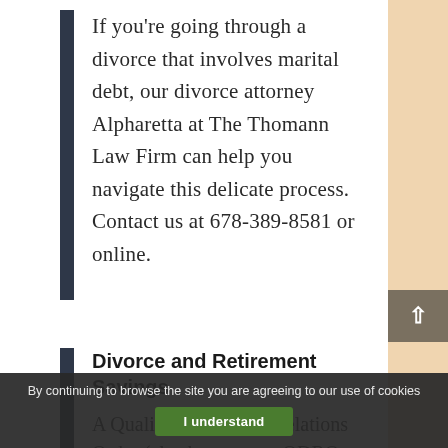If you're going through a divorce that involves marital debt, our divorce attorney Alpharetta at The Thomann Law Firm can help you navigate this delicate process. Contact us at 678-389-8581 or online.
Divorce and Retirement Savings
A Qualified Domestic Relations Order (also known as a QDRO,
By continuing to browse the site you are agreeing to our use of cookies